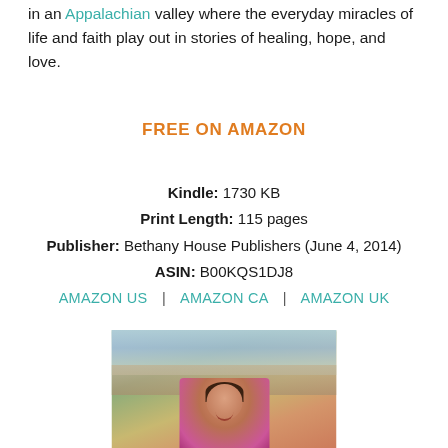in an Appalachian valley where the everyday miracles of life and faith play out in stories of healing, hope, and love.
FREE ON AMAZON
Kindle: 1730 KB
Print Length: 115 pages
Publisher: Bethany House Publishers (June 4, 2014)
ASIN: B00KQS1DJ8
AMAZON US | AMAZON CA | AMAZON UK
[Figure (photo): Author photo: a smiling dark-haired woman in a pink top, photographed outdoors near a stream with rocks and green foliage in the background.]